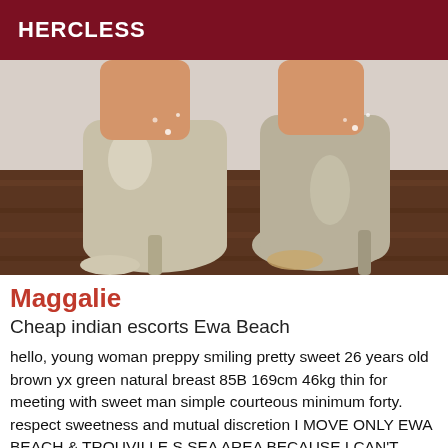HERCLESS
[Figure (photo): Close-up photo of two beige/nude high-heel stiletto platform shoes viewed from behind, on a wooden floor background.]
Maggalie
Cheap indian escorts Ewa Beach
hello, young woman preppy smiling pretty sweet 26 years old brown yx green natural breast 85B 169cm 46kg thin for meeting with sweet man simple courteous minimum forty. respect sweetness and mutual discretion I MOVE ONLY EWA BEACH & TROUVILLE S SEA AREA BECAUSE I CAN'T RECEIVE available every day